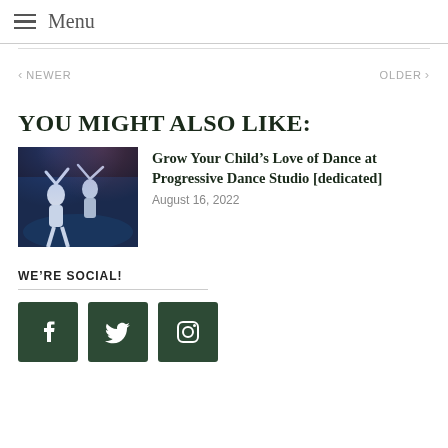Menu
< NEWER   OLDER >
YOU MIGHT ALSO LIKE:
[Figure (photo): Dance performers on stage, likely ballet or contemporary dance]
Grow Your Child’s Love of Dance at Progressive Dance Studio [dedicated]
August 16, 2022
WE’RE SOCIAL!
[Figure (infographic): Social media icons: Facebook, Twitter, Instagram on dark green square buttons]